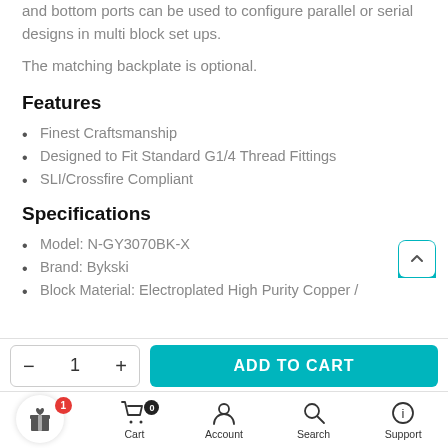and bottom ports can be used to configure parallel or serial designs in multi block set ups.
The matching backplate is optional.
Features
Finest Craftsmanship
Designed to Fit Standard G1/4 Thread Fittings
SLI/Crossfire Compliant
Specifications
Model: N-GY3070BK-X
Brand: Bykski
Block Material: Electroplated High Purity Copper /